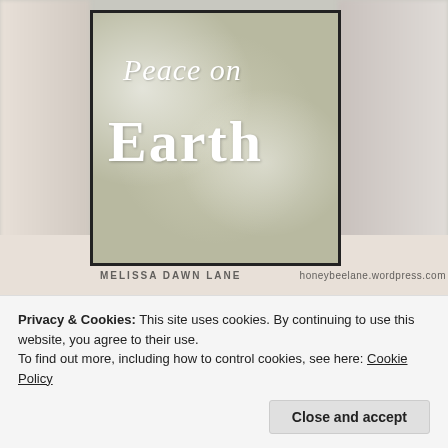[Figure (photo): A close-up photograph of a glittery silver holiday card with white die-cut text reading 'Peace on Earth', surrounded by blurred white and floral fabric background. Watermark text reads 'MELISSA DAWN LANE' and 'honeybeelane.wordpress.com'.]
Privacy & Cookies: This site uses cookies. By continuing to use this website, you agree to their use.
To find out more, including how to control cookies, see here: Cookie Policy
Close and accept